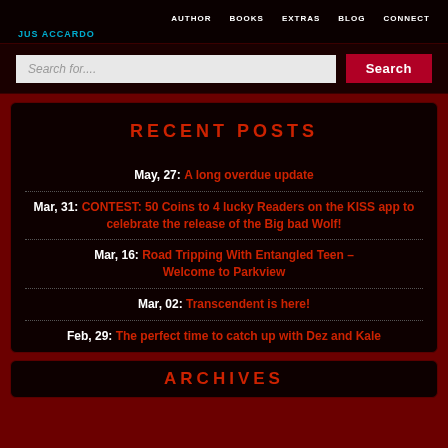AUTHOR   BOOKS   EXTRAS   BLOG   CONNECT
JUS ACCARDO
Search for....  Search
RECENT POSTS
May, 27: A long overdue update
Mar, 31: CONTEST: 50 Coins to 4 lucky Readers on the KISS app to celebrate the release of the Big bad Wolf!
Mar, 16: Road Tripping With Entangled Teen – Welcome to Parkview
Mar, 02: Transcendent is here!
Feb, 29: The perfect time to catch up with Dez and Kale
ARCHIVES